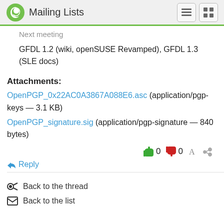Mailing Lists
Next meeting
GFDL 1.2 (wiki, openSUSE Revamped), GFDL 1.3 (SLE docs)
Attachments:
OpenPGP_0x22AC0A3867A088E6.asc (application/pgp-keys — 3.1 KB)
OpenPGP_signature.sig (application/pgp-signature — 840 bytes)
0  0  Reply
Back to the thread
Back to the list